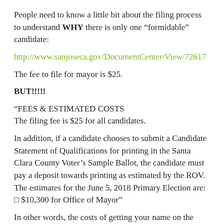People need to know a little bit about the filing process to understand WHY there is only one “formidable” candidate:
http://www.sanjoseca.gov/DocumentCenter/View/72617
The fee to file for mayor is $25.
BUT!!!!!
“FEES & ESTIMATED COSTS
The filing fee is $25 for all candidates.
In addition, if a candidate chooses to submit a Candidate Statement of Qualifications for printing in the Santa Clara County Voter’s Sample Ballot, the candidate must pay a deposit towards printing as estimated by the ROV. The estimates for the June 5, 2018 Primary Election are:
□ $10,300 for Office of Mayor”
In other words, the costs of getting your name on the ballot WITH a candidate ballot statement is over TEN THOUSAND DOLLARS!
The reality of elections is not that you have your name on the